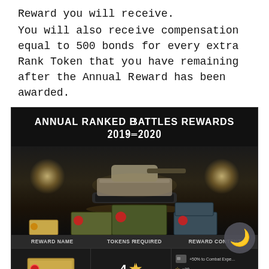Reward you will receive.
You will also receive compensation equal to 500 bonds for every extra Rank Token that you have remaining after the Annual Reward has been awarded.
[Figure (screenshot): Annual Ranked Battles Rewards 2019-2020 promotional image showing a tank in a warehouse with crates, and a reward table below with columns: Reward Name, Tokens Required, Reward Contents. The visible row shows 'SMALL' reward requiring 4 tokens.]